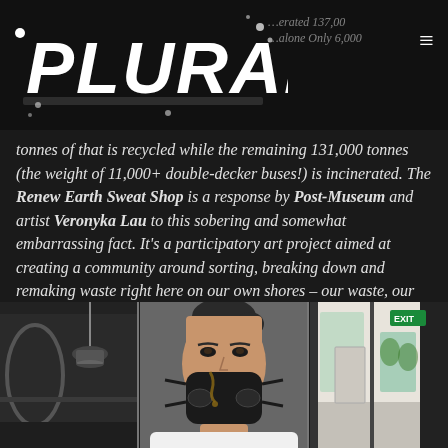PLURAL [logo]
tonnes of that is recycled while the remaining 131,000 tonnes (the weight of 11,000+ double-decker buses!) is incinerated. The Renew Earth Sweat Shop is a response by Post-Museum and artist Veronyka Lau to this sobering and somewhat embarrassing fact. It's a participatory art project aimed at creating a community around sorting, breaking down and remaking waste right here on our own shores – our waste, our responsibility.
[Figure (photo): Three-panel photo strip showing: left panel - dark interior space with hanging lamp; center panel - close-up of a woman wearing a black respirator/mask; right panel - bright interior room with Exit sign visible.]